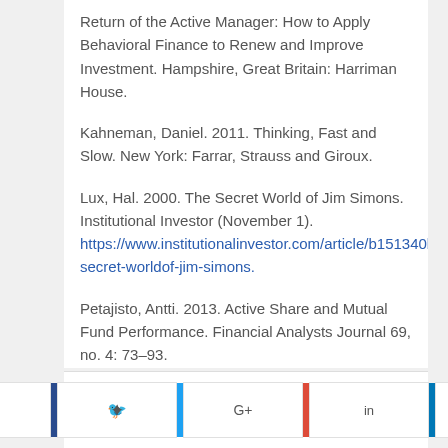Return of the Active Manager: How to Apply Behavioral Finance to Renew and Improve Investment. Hampshire, Great Britain: Harriman House.
Kahneman, Daniel. 2011. Thinking, Fast and Slow. New York: Farrar, Strauss and Giroux.
Lux, Hal. 2000. The Secret World of Jim Simons. Institutional Investor (November 1). https://www.institutionalinvestor.com/article/b151340bp779.../secret-worldof-jim-simons.
Petajisto, Antti. 2013. Active Share and Mutual Fund Performance. Financial Analysts Journal 69, no. 4: 73–93.